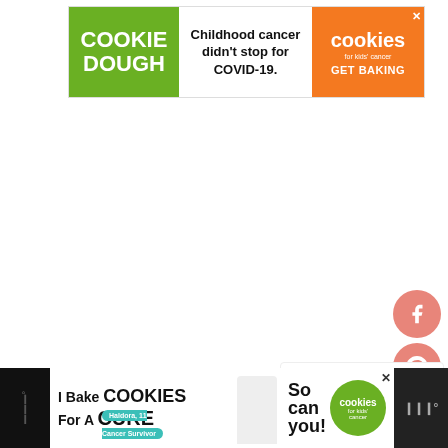[Figure (infographic): Cookie Dough for Kids Cancer advertisement banner. Green section with 'COOKIE DOUGH' text, white section with 'Childhood cancer didn't stop for COVID-19.', orange section with cookies for kids cancer logo and 'GET BAKING']
[Figure (infographic): Social sharing sidebar with Facebook, Pinterest, heart/save (count: 30), and share+ buttons in pink/rose circles]
[Figure (infographic): What's Next panel showing thumbnail of cookies with label 'WHAT'S NEXT →' and title 'Flavours of Fall Cookies...' with Mediavine logo]
[Figure (infographic): Bottom advertisement banner: 'I Bake COOKIES For A CURE' with person image, 'So can you!' text, cookies for kids cancer green circle logo, close button. Dark background on left and right edges.]